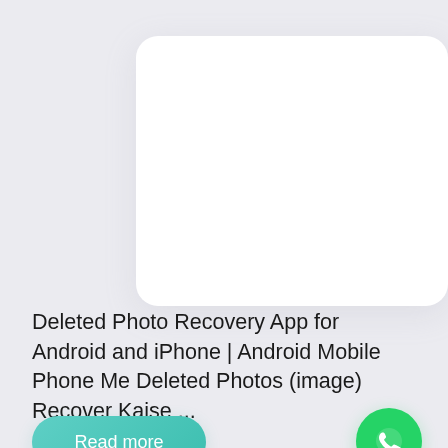[Figure (illustration): White rounded rectangle card with shadow on light gray background, representing a blank image placeholder]
Deleted Photo Recovery App for Android and iPhone | Android Mobile Phone Me Deleted Photos (image) Recover Kaise ...
Read more
[Figure (logo): WhatsApp logo — green circle with white speech bubble phone icon]